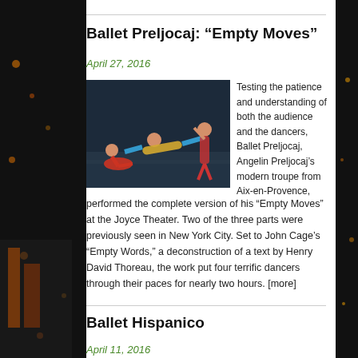Ballet Preljocaj: “Empty Moves”
April 27, 2016
[Figure (photo): Three dancers performing on a dark stage; one dancer is being held horizontally by two others.]
Testing the patience and understanding of both the audience and the dancers, Ballet Preljocaj, Angelin Preljocaj’s modern troupe from Aix-en-Provence, performed the complete version of his “Empty Moves” at the Joyce Theater. Two of the three parts were previously seen in New York City. Set to John Cage’s “Empty Words,” a deconstruction of a text by Henry David Thoreau, the work put four terrific dancers through their paces for nearly two hours. [more]
Ballet Hispanico
April 11, 2016